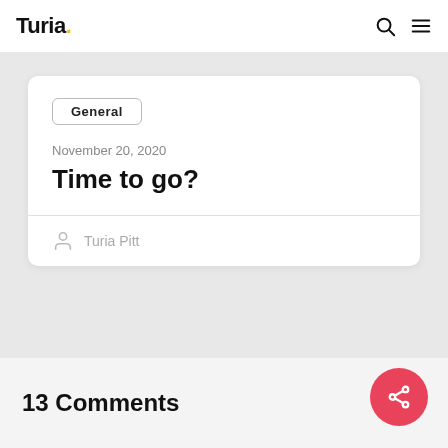Turia.
General
November 20, 2020
Time to go?
Turia Pitt
13 Comments